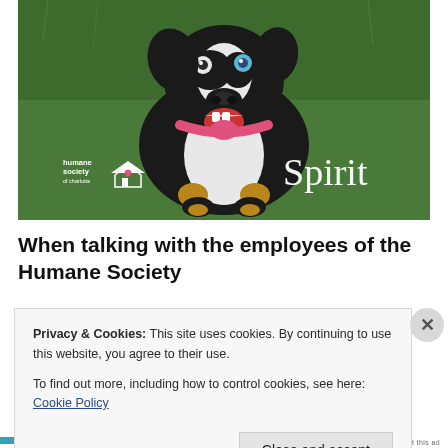[Figure (photo): A black and white dog with a pink collar sitting on green turf, looking up at the camera with mouth open. The Humane Society of Charlotte logo is in the lower left, and the name 'Spirit' is displayed in large white text on the lower right.]
When talking with the employees of the Humane Society
Privacy & Cookies: This site uses cookies. By continuing to use this website, you agree to their use.
To find out more, including how to control cookies, see here: Cookie Policy
Close and accept